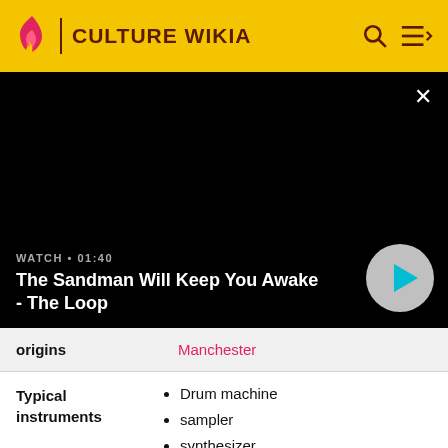CULTURE WIKIA
[Figure (screenshot): Black video player area showing title 'The Sandman Will Keep You Awake - The Loop' with watch time 01:40 and a play button]
WATCH • 01:40
The Sandman Will Keep You Awake - The Loop
|  |  |
| --- | --- |
| origins | Manchester |
Typical instruments
Drum machine
sampler
synthesizer
electronic keyboards
turntables